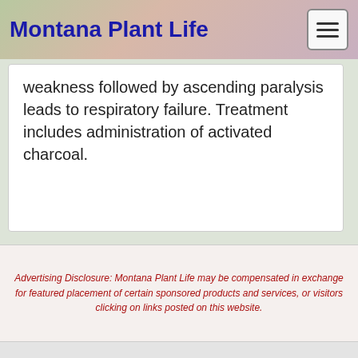Montana Plant Life
weakness followed by ascending paralysis leads to respiratory failure. Treatment includes administration of activated charcoal.
Advertising Disclosure: Montana Plant Life may be compensated in exchange for featured placement of certain sponsored products and services, or visitors clicking on links posted on this website.
Copyright © Montana.Plant-Life.org